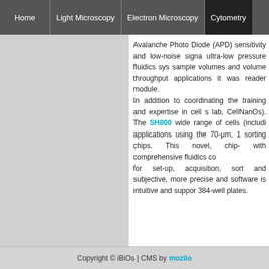Home | Light Microscopy | Electron Microscopy | Cytometry
Avalanche Photo Diode (APD) sensitivity and low-noise signa ultra-low pressure fluidics sys sample volumes and volume throughput applications it was reader module. In addition to coordinating the training and expertise in cell s lab, CellNanOs). The SH800 wide range of cells (includi applications using the 70-μm, 1 sorting chips. This novel, chip- with comprehensive fluidics co for set-up, acquisition, sort and subjective, more precise and software is intuitive and suppor 384-well plates.
Copyright © iBiOs | CMS by mozilo